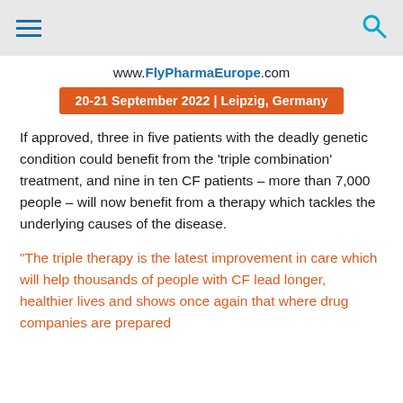[hamburger menu icon] [search icon]
www.FlyPharmaEurope.com
20-21 September 2022 | Leipzig, Germany
If approved, three in five patients with the deadly genetic condition could benefit from the ‘triple combination’ treatment, and nine in ten CF patients – more than 7,000 people – will now benefit from a therapy which tackles the underlying causes of the disease.
“The triple therapy is the latest improvement in care which will help thousands of people with CF lead longer, healthier lives and shows once again that where drug companies are prepared